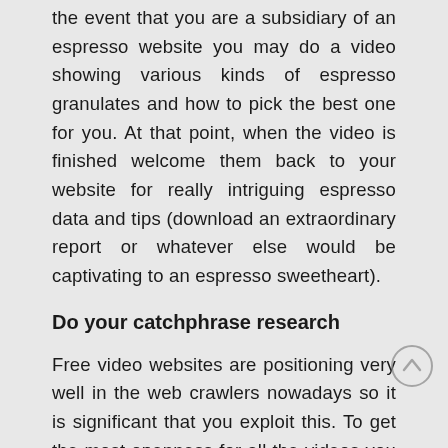the event that you are a subsidiary of an espresso website you may do a video showing various kinds of espresso granulates and how to pick the best one for you. At that point, when the video is finished welcome them back to your website for really intriguing espresso data and tips (download an extraordinary report or whatever else would be captivating to an espresso sweetheart).
Do your catchphrase research
Free video websites are positioning very well in the web crawlers nowadays so it is significant that you exploit this. To get the most openness for all the videos you submit then you'll need to do exhaustive watchword research. I utilize Word